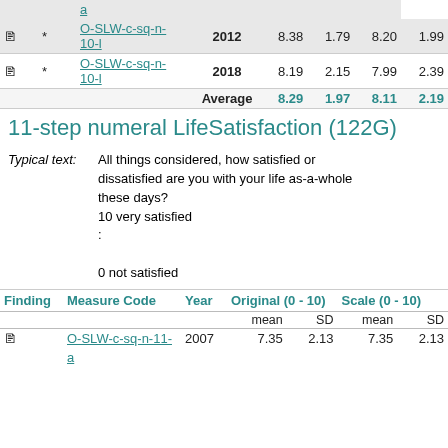| Finding | Measure Code | Year | Original (0-10) mean | Original (0-10) SD | Scale (0-10) mean | Scale (0-10) SD |
| --- | --- | --- | --- | --- | --- | --- |
| 🖹 * | O-SLW-c-sq-n-10-l | 2012 | 8.38 | 1.79 | 8.20 | 1.99 |
| 🖹 * | O-SLW-c-sq-n-10-l | 2018 | 8.19 | 2.15 | 7.99 | 2.39 |
|  | Average |  | 8.29 | 1.97 | 8.11 | 2.19 |
11-step numeral LifeSatisfaction (122G)
Typical text: All things considered, how satisfied or dissatisfied are you with your life as-a-whole these days? 10 very satisfied : 0 not satisfied
| Finding | Measure Code | Year | Original (0-10) mean | Original (0-10) SD | Scale (0-10) mean | Scale (0-10) SD |
| --- | --- | --- | --- | --- | --- | --- |
| 🖹 | O-SLW-c-sq-n-11-a | 2007 | 7.35 | 2.13 | 7.35 | 2.13 |
|  | a |  |  |  |  |  |